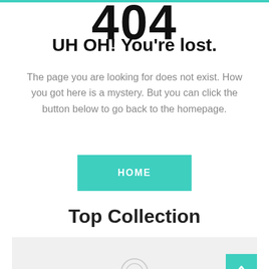404
UH OH! You're lost.
The page you are looking for does not exist. How you got here is a mystery. But you can click the button below to go back to the homepage.
HOME
Top Collection
[Figure (other): Gray placeholder box for product image collection with teal accent at bottom and back-to-top arrow button in bottom right corner]